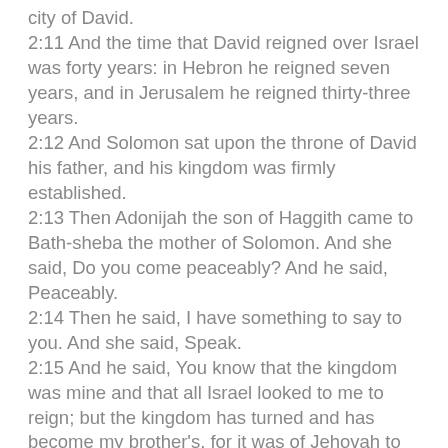city of David.
2:11 And the time that David reigned over Israel was forty years: in Hebron he reigned seven years, and in Jerusalem he reigned thirty-three years.
2:12 And Solomon sat upon the throne of David his father, and his kingdom was firmly established.
2:13 Then Adonijah the son of Haggith came to Bath-sheba the mother of Solomon. And she said, Do you come peaceably? And he said, Peaceably.
2:14 Then he said, I have something to say to you. And she said, Speak.
2:15 And he said, You know that the kingdom was mine and that all Israel looked to me to reign; but the kingdom has turned and has become my brother's, for it was of Jehovah to be his.
2:16 Now therefore I ask one thing of you; do not refuse me. And she said to him, Speak.
2:17 And he said, Please tell Solomon the king — for he will